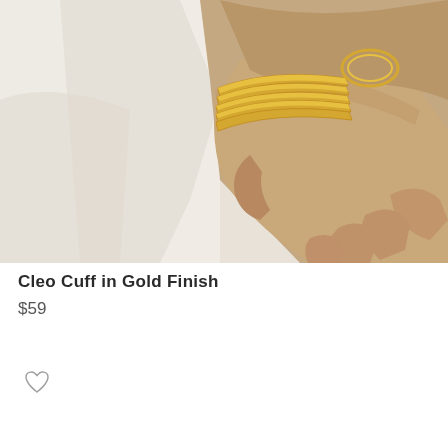[Figure (photo): A close-up photo of a person's hand and wrist wearing multiple gold bangle bracelets (Cleo Cuff in Gold Finish), with a white linen outfit in the background.]
Cleo Cuff in Gold Finish
$59